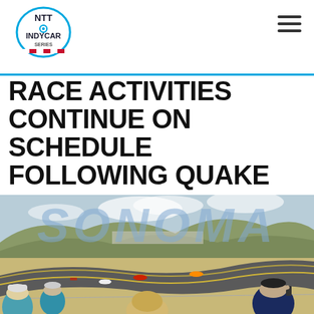NTT INDYCAR SERIES
RACE ACTIVITIES CONTINUE ON SCHEDULE FOLLOWING QUAKE
By Dave Lewandowski | Published: Aug 24, 2014
[Figure (photo): Aerial view of Sonoma Raceway with IndyCar race cars on track, spectators in foreground watching from stands, rolling hills in background. SONOMA watermark overlaid on image.]